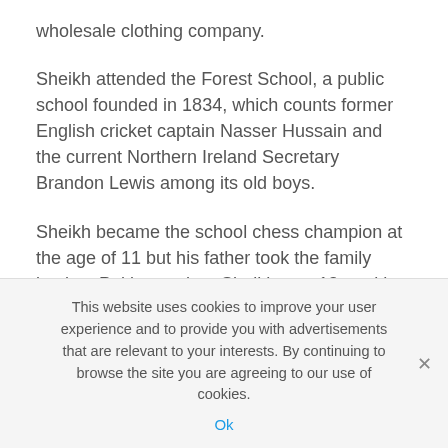wholesale clothing company.
Sheikh attended the Forest School, a public school founded in 1834, which counts former English cricket captain Nasser Hussain and the current Northern Ireland Secretary Brandon Lewis among its old boys.
Sheikh became the school chess champion at the age of 11 but his father took the family back to Pakistan when Sheikh was 13, and he was sent to Aitchison College, a prestigious school favoured by Pakistan's elite and dubbed Pakistan's Eton.
This website uses cookies to improve your user experience and to provide you with advertisements that are relevant to your interests. By continuing to browse the site you are agreeing to our use of cookies.
Ok